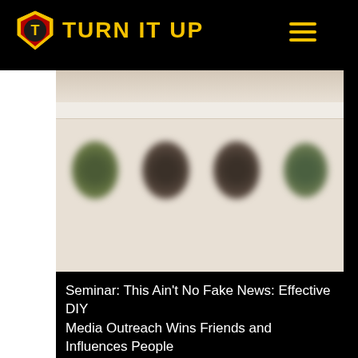TURN IT UP
[Figure (screenshot): Blurred website screenshot showing a navigation bar and circular profile images/thumbnails on a light beige background]
Seminar:  This Ain't No Fake News: Effective DIY Media Outreach Wins Friends and Influences People
Date: 04/20/2020
Time: 1:00 pm - 2:00 pm
Room: 214
You don't need a million-dollar marketing budget to attract positive press. If you have some creativity, patience, and a few writing chops you can get your name in the news without spending money on pricey